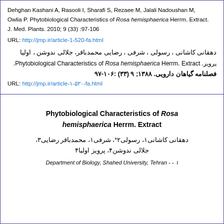Dehghan Kashani A, Rasooli I, Sharafi S, Rezaee M, Jalali Nadoushan M, Owlia P. Phytobiological Characteristics of Rosa hemisphaerica Herrm. Extract. J. Med. Plants. 2010; 9 (33) :97-106
URL: http://jmp.ir/article-1-520-fa.html
دهقانی کاشانی ، رسولی ، شرفی ، رضایی محمدباقر، جلالی ندوشن ، اولیا پرویز. Phytobiological Characteristics of Rosa hemisphaerica Herrm. Extract. فصلنامه گیاهان دارویی. ۱۳۸۸; ۹ (۳۳) :۱۰۶-۹۷
URL: http://jmp.ir/article-۱-۵۲۰-fa.html
Phytobiological Characteristics of Rosa hemisphaerica Herrm. Extract
دهقانی کاشانی۱، رسولی۲*، شرفی۱، محمدباقر رضایی۳، جلالی ندوشن۴، پرویز اولیا۴
Department of Biology, Shahed University, Tehran - -۱